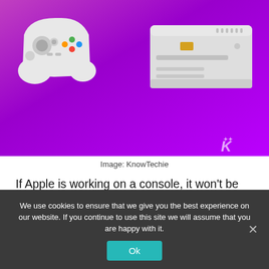[Figure (photo): Apple Bandai Pippin game console and controller on a purple/magenta gradient background, with KnowTechie logo watermark in bottom right corner.]
Image: KnowTechie
If Apple is working on a console, it won’t be the company’s first dip into the pool. We must never forget 1996’s Apple Bandai Pippin.
The Apple Pippin was forgotten and faded
We use cookies to ensure that we give you the best experience on our website. If you continue to use this site we will assume that you are happy with it.